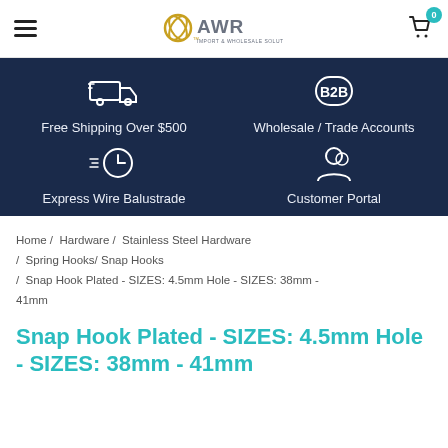[Figure (logo): AWR Import & Wholesale Solutions logo with golden circular icon and grey text]
[Figure (infographic): Dark navy banner with four feature icons: Free Shipping Over $500 (truck icon), Wholesale / Trade Accounts (B2B icon), Express Wire Balustrade (clock icon), Customer Portal (person icon)]
Home / Hardware / Stainless Steel Hardware / Spring Hooks/ Snap Hooks / Snap Hook Plated - SIZES: 4.5mm Hole - SIZES: 38mm - 41mm
Snap Hook Plated - SIZES: 4.5mm Hole - SIZES: 38mm - 41mm